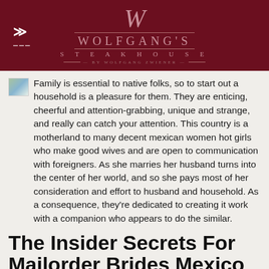[Figure (logo): Wolfgang's Steakhouse logo with hamburger menu icon on dark red background]
Family is essential to native folks, so to start out a household is a pleasure for them. They are enticing, cheerful and attention-grabbing, unique and strange, and really can catch your attention. This country is a motherland to many decent mexican women hot girls who make good wives and are open to communication with foreigners. As she marries her husband turns into the center of her world, and so she pays most of her consideration and effort to husband and household. As a consequence, they're dedicated to creating it work with a companion who appears to do the similar.
The Insider Secrets For Mailorder Brides Mexico